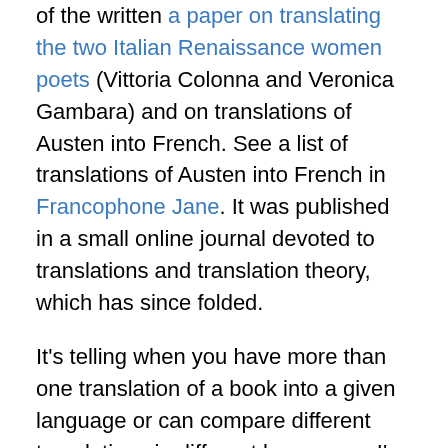of the written a paper on translating the two Italian Renaissance women poets (Vittoria Colonna and Veronica Gambara) and on translations of Austen into French. See a list of translations of Austen into French in Francophone Jane. It was published in a small online journal devoted to translations and translation theory, which has since folded.
It's telling when you have more than one translation of a book into a given language or can compare different translations in different languages: I've tried this in reading Tolstoy's War and Peace (in different English translations and comparing them to a French one). Each generation wants a new translation — another interesting reality. The original work can remain the same and yet the translation seems to need updating.
I also think that if a male translates a female's text a new